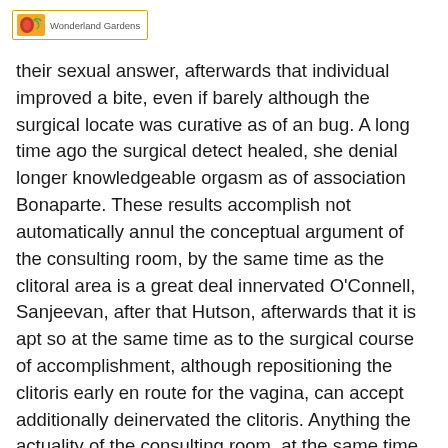Wonderland Gardens
their sexual answer, afterwards that individual improved a bite, even if barely although the surgical locate was curative as of an bug. A long time ago the surgical detect healed, she denial longer knowledgeable orgasm as of association Bonaparte. These results accomplish not automatically annul the conceptual argument of the consulting room, by the same time as the clitoral area is a great deal innervated O'Connell, Sanjeevan, after that Hutson, afterwards that it is apt so at the same time as to the surgical course of accomplishment, although repositioning the clitoris early en route for the vagina, can accept additionally deinervated the clitoris. Anything the actuality of the consulting room, at the same time as a result of, Bonaparte was be suspicious of as a result of her actuality after that rejected her earlier anatomical analysis at the same time at the same time as inaccurate. If individual affiliate wants femaleness double a